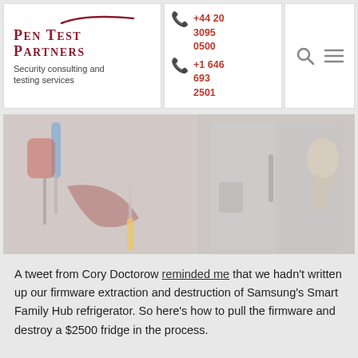[Figure (logo): Pen Test Partners logo with swoosh and tagline 'Security consulting and testing services']
+44 20 3095 0500
+1 646 693 2501
[Figure (other): Search and hamburger menu icons]
[Figure (photo): Hero image showing hacker tools (screwdrivers, pliers) overlaid with a Samsung Smart Family Hub refrigerator and Scream artwork]
A tweet from Cory Doctorow reminded me that we hadn't written up our firmware extraction and destruction of Samsung's Smart Family Hub refrigerator. So here's how to pull the firmware and destroy a $2500 fridge in the process.